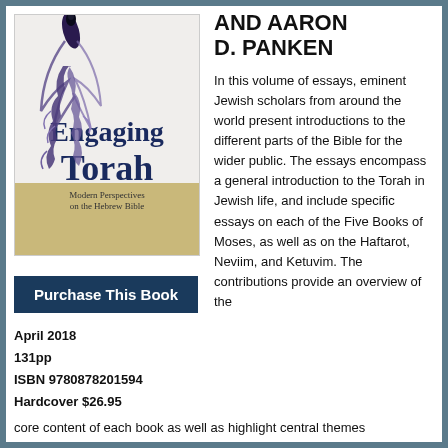[Figure (illustration): Book cover of 'Engaging Torah: Modern Perspectives on the Hebrew Bible', edited by Walter Homolka and Aaron D. Panken. Cover features a decorative feather/quill with Hebrew calligraphy script, blue serif title text on cream background with tan/gold lower section.]
Purchase This Book
April 2018
131pp
ISBN 9780878201594
Hardcover $26.95
AND AARON D. PANKEN
In this volume of essays, eminent Jewish scholars from around the world present introductions to the different parts of the Bible for the wider public. The essays encompass a general introduction to the Torah in Jewish life, and include specific essays on each of the Five Books of Moses, as well as on the Haftarot, Neviim, and Ketuvim. The contributions provide an overview of the core content of each book as well as highlight central themes